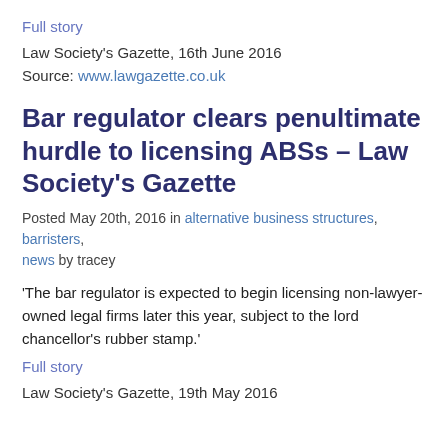Full story
Law Society's Gazette, 16th June 2016
Source: www.lawgazette.co.uk
Bar regulator clears penultimate hurdle to licensing ABSs – Law Society's Gazette
Posted May 20th, 2016 in alternative business structures, barristers, news by tracey
'The bar regulator is expected to begin licensing non-lawyer-owned legal firms later this year, subject to the lord chancellor's rubber stamp.'
Full story
Law Society's Gazette, 19th May 2016